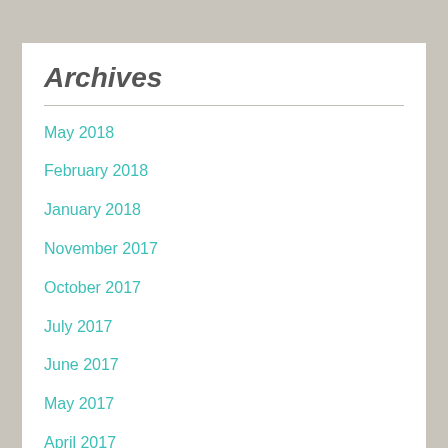Archives
May 2018
February 2018
January 2018
November 2017
October 2017
July 2017
June 2017
May 2017
April 2017
February 2017
January 2017